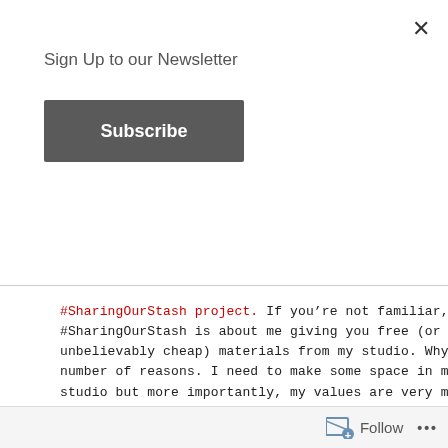Sign Up to our Newsletter
Subscribe
#SharingOurStash project. If you’re not familiar, #SharingOurStash is about me giving you free (or unbelievably cheap) materials from my studio. Why? A number of reasons. I need to make some space in my studio but more importantly, my values are very much about sustainability, upcycling and waste reduction. I don’t want the unused materials from my collections ending in the bin, I don’t want to add to landfill, and I truly believe there’s so many creative minds out there can upcycle these materials to make something fabulous.
Follow ...